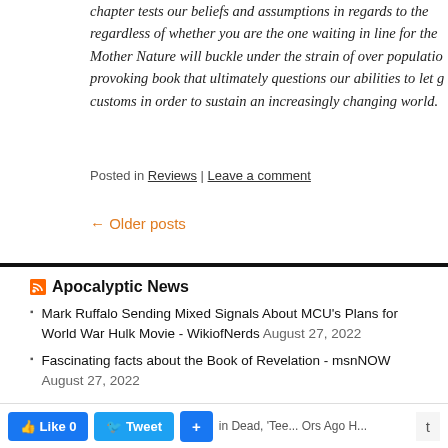chapter tests our beliefs and assumptions in regards to the regardless of whether you are the one waiting in line for the Mother Nature will buckle under the strain of over populatio provoking book that ultimately questions our abilities to let g customs in order to sustain an increasingly changing world.
Posted in Reviews | Leave a comment
← Older posts
Apocalyptic News
Mark Ruffalo Sending Mixed Signals About MCU's Plans for World War Hulk Movie - WikiofNerds August 27, 2022
Fascinating facts about the Book of Revelation - msnNOW August 27, 2022
CA Abortion Apocalypse - Church Militant August 26, 2022